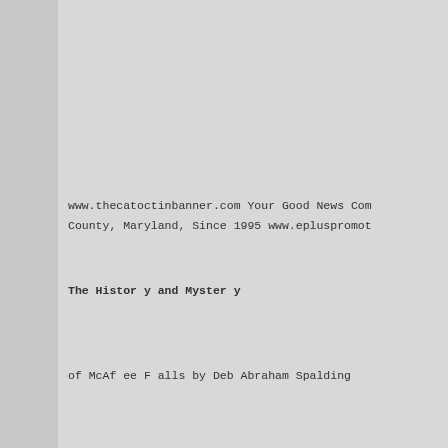www.thecatoctinbanner.com Your Good News Community. County, Maryland, Since 1995 www.epluspromot...
The Histor y and Myster y
of McAf ee F alls by Deb Abraham Spalding